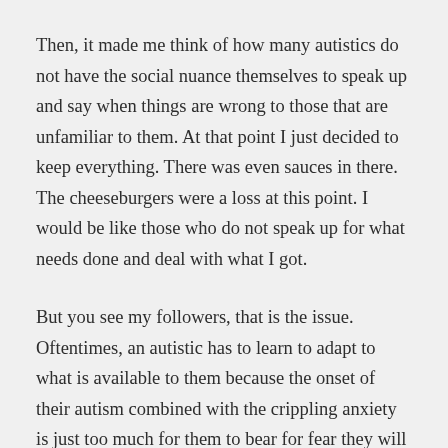Then, it made me think of how many autistics do not have the social nuance themselves to speak up and say when things are wrong to those that are unfamiliar to them. At that point I just decided to keep everything. There was even sauces in there. The cheeseburgers were a loss at this point. I would be like those who do not speak up for what needs done and deal with what I got.
But you see my followers, that is the issue. Oftentimes, an autistic has to learn to adapt to what is available to them because the onset of their autism combined with the crippling anxiety is just too much for them to bear for fear they will be treated differently or react in an odd manner. When one is reacting or regressing to something that doesn't seem normal and they are